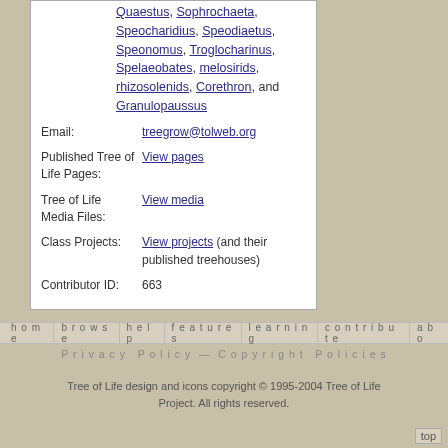Quaestus, Sophrochaeta, Speocharidius, Speodiaetus, Speonomus, Troglocharinus, Spelaeobates, melosirids, rhizosolenids, Corethron, and Granulopaussus
Email: treegrow@tolweb.org
Published Tree of Life Pages: View pages
Tree of Life Media Files: View media
Class Projects: View projects (and their published treehouses)
Contributor ID: 663
home   browse   help   features   learning   contribute   abo
Privacy Policy — Copyright Policies
Tree of Life design and icons copyright © 1995-2004 Tree of Life Project. All rights reserved.